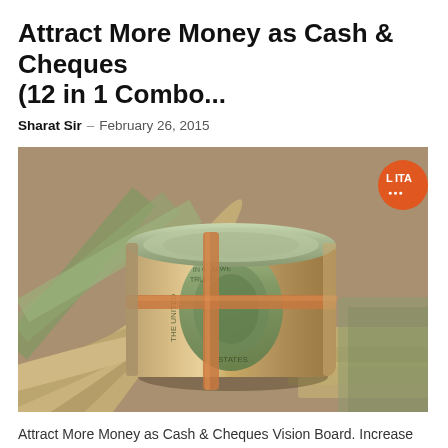Attract More Money as Cash & Cheques (12 in 1 Combo...
Sharat Sir – February 26, 2015
[Figure (photo): Close-up photo of rolled US dollar bills bundled with a rubber band, with more dollar bills spread in the background. A small orange circular logo with 'LITA' text is visible in the top-right corner.]
Attract More Money as Cash & Cheques Vision Board. Increase the Sense of Richness, Wealth & Work Smartly. Increase Motivation to